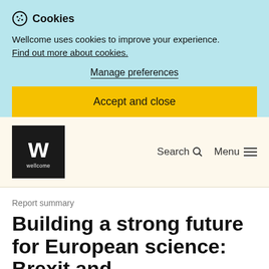Cookies
Wellcome uses cookies to improve your experience.
Find out more about cookies.
Manage preferences
Accept and close
[Figure (logo): Wellcome logo — white W on black square with 'wellcome' text below]
Search
Menu
Report summary
Building a strong future for European science: Brexit and